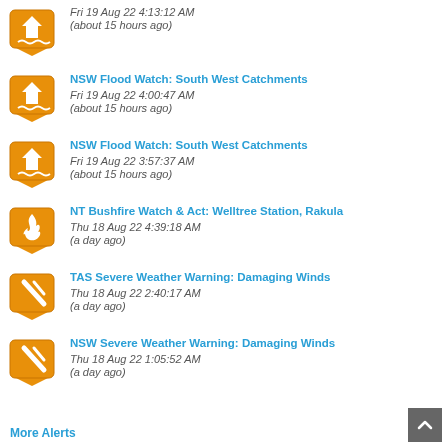Fri 19 Aug 22 4:13:12 AM
(about 15 hours ago)
NSW Flood Watch: South West Catchments
Fri 19 Aug 22 4:00:47 AM
(about 15 hours ago)
NSW Flood Watch: South West Catchments
Fri 19 Aug 22 3:57:37 AM
(about 15 hours ago)
NT Bushfire Watch & Act: Welltree Station, Rakula
Thu 18 Aug 22 4:39:18 AM
(a day ago)
TAS Severe Weather Warning: Damaging Winds
Thu 18 Aug 22 2:40:17 AM
(a day ago)
NSW Severe Weather Warning: Damaging Winds
Thu 18 Aug 22 1:05:52 AM
(a day ago)
More Alerts